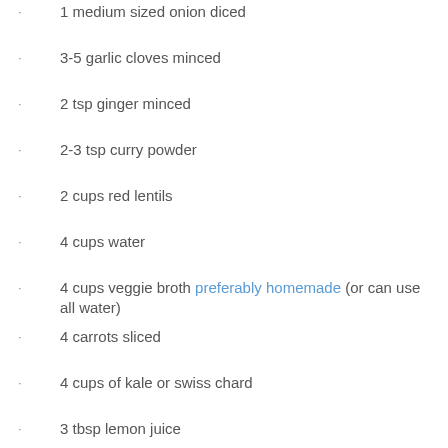1 medium sized onion diced
3-5 garlic cloves minced
2 tsp ginger minced
2-3 tsp curry powder
2 cups red lentils
4 cups water
4 cups veggie broth preferably homemade (or can use all water)
4 carrots sliced
4 cups of kale or swiss chard
3 tbsp lemon juice
Add all ingredients except kale or swiss chard and lemon juice to slow